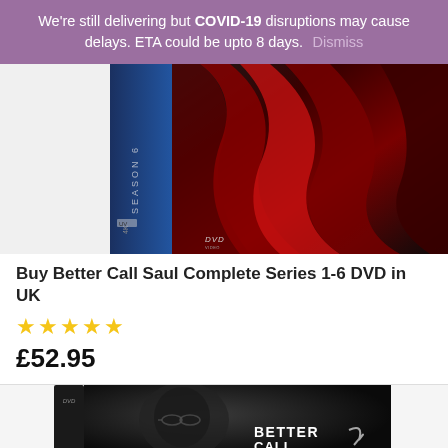We're still delivering but COVID-19 disruptions may cause delays. ETA could be upto 8 days. Dismiss
[Figure (photo): Better Call Saul Complete Series 1-6 DVD box set product photo showing blue spine with SEASON 6 text and dark front with red draped fabric]
Buy Better Call Saul Complete Series 1-6 DVD in UK
★★★★★
£52.95
[Figure (photo): Better Call Saul DVD product photo showing dark box with man's face and BETTER CALL text visible]